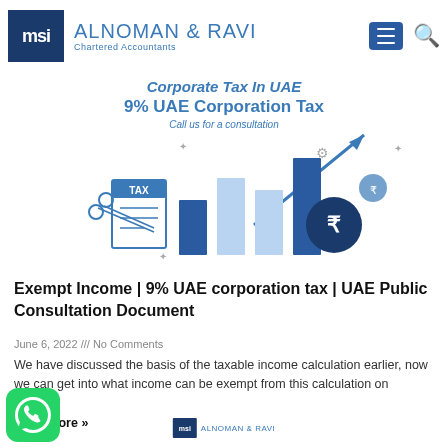MSI ALNOMAN & RAVI Chartered Accountants
[Figure (illustration): Corporate Tax in UAE banner showing 9% UAE Corporation Tax with bar chart growth graphic and call us for a consultation text, featuring financial icons and an upward arrow trend.]
Exempt Income | 9% UAE corporation tax | UAE Public Consultation Document
June 6, 2022 /// No Comments
We have discussed the basis of the taxable income calculation earlier, now we can get into what income can be exempt from this calculation on
Read More »
MSI ALNOMAN & RAVI